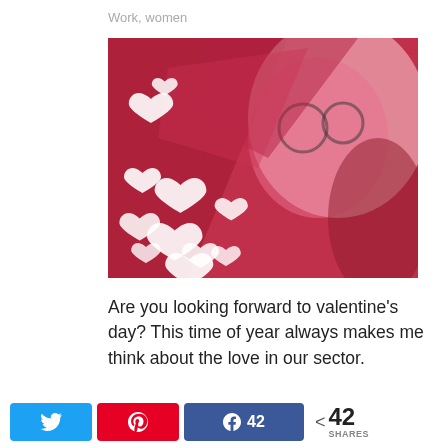Work, women
[Figure (photo): A woman with glasses looking upward, with a red/pink artistic filter overlay and white heart shapes scattered across the image]
Are you looking forward to valentine's day?  This time of year always makes me think about the love in our sector.
Twitter share button, Pinterest share button, Facebook 42 shares, < 42 SHARES